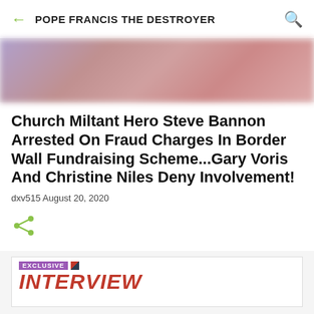POPE FRANCIS THE DESTROYER
[Figure (photo): Blurred/obscured image, appears to show a person in reddish-purple tones]
Church Miltant Hero Steve Bannon Arrested On Fraud Charges In Border Wall Fundraising Scheme...Gary Voris And Christine Niles Deny Involvement!
dxv515 August 20, 2020
[Figure (screenshot): Exclusive Interview card with purple EXCLUSIVE label and red INTERVIEW text]